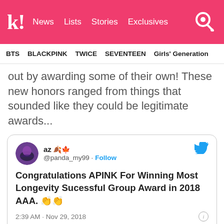k! News Lists Stories Exclusives
BTS BLACKPINK TWICE SEVENTEEN Girls' Generation
out by awarding some of their own! These new honors ranged from things that sounded like they could be legitimate awards...
[Figure (screenshot): Embedded tweet from @panda_my99 reading: Congratulations APINK For Winning Most Longevity Sucessful Group Award in 2018 AAA. 👏👏 — posted at 2:39 AM · Nov 29, 2018, with 199 likes, Reply, Copy link actions, and Read 5 replies button.]